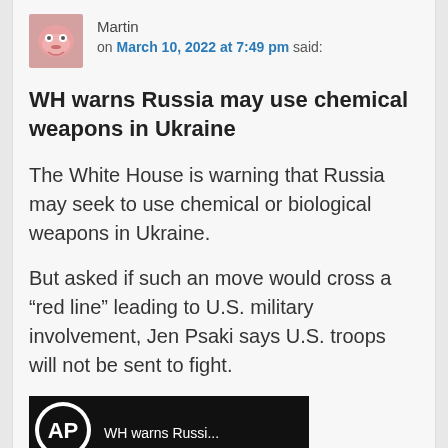Martin on March 10, 2022 at 7:49 pm said:
WH warns Russia may use chemical weapons in Ukraine
The White House is warning that Russia may seek to use chemical or biological weapons in Ukraine.
But asked if such an move would cross a “red line” leading to U.S. military involvement, Jen Psaki says U.S. troops will not be sent to fight.
[Figure (screenshot): AP news logo and partial headline at the bottom of the comment]